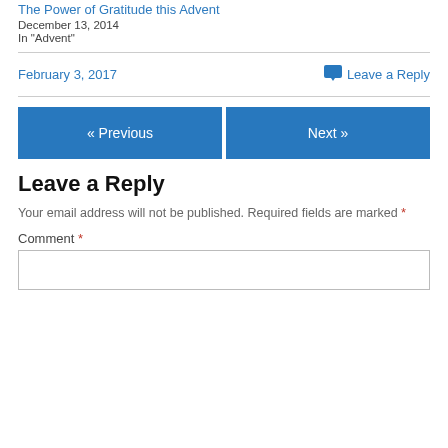The Power of Gratitude this Advent
December 13, 2014
In "Advent"
February 3, 2017
Leave a Reply
« Previous
Next »
Leave a Reply
Your email address will not be published. Required fields are marked *
Comment *